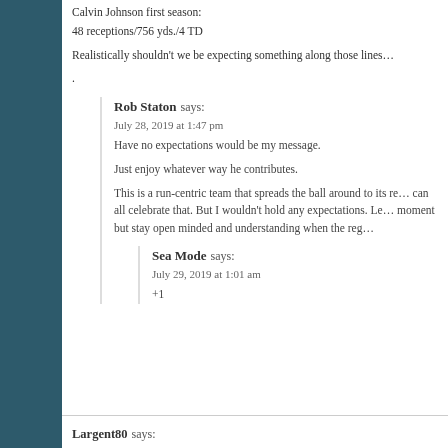Calvin Johnson first season:
48 receptions/756 yds./4 TD
Realistically shouldn’t we be expecting something along those lines …
.
Rob Staton says:
July 28, 2019 at 1:47 pm
Have no expectations would be my message.
Just enjoy whatever way he contributes.
This is a run-centric team that spreads the ball around to its re… can all celebrate that. But I wouldn’t hold any expectations. Le… moment but stay open minded and understanding when the reg…
Sea Mode says:
July 29, 2019 at 1:01 am
+1
Largent80 says: